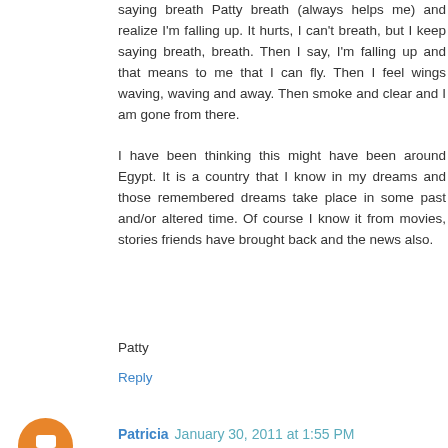saying breath Patty breath (always helps me) and realize I'm falling up. It hurts, I can't breath, but I keep saying breath, breath. Then I say, I'm falling up and that means to me that I can fly. Then I feel wings waving, waving and away. Then smoke and clear and I am gone from there.
I have been thinking this might have been around Egypt. It is a country that I know in my dreams and those remembered dreams take place in some past and/or altered time. Of course I know it from movies, stories friends have brought back and the news also.
Patty
Reply
Patricia  January 30, 2011 at 1:55 PM
PS I think it took me a few nights before I went into a restorative dream. It was about a tree. Thanks to you and a few others from the forum, tress are rich in healing and meaning for me.
Now I'm thinking about how you have said ask your dreams. Another easy powerful technique I will no longer